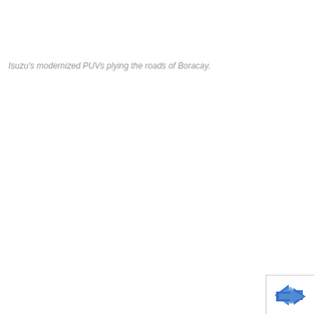Isuzu's modernized PUVs plying the roads of Boracay.
[Figure (logo): Partial blue arrow/logo graphic in bottom-right corner]